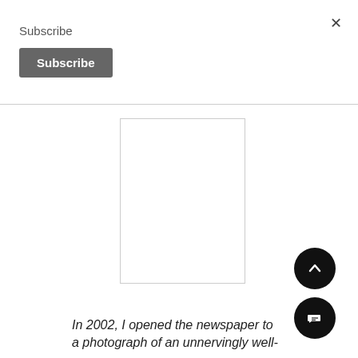Subscribe
Subscribe
[Figure (other): Blank white rectangle with border, placeholder image]
In 2002, I opened the newspaper to a photograph of an unnervingly well-